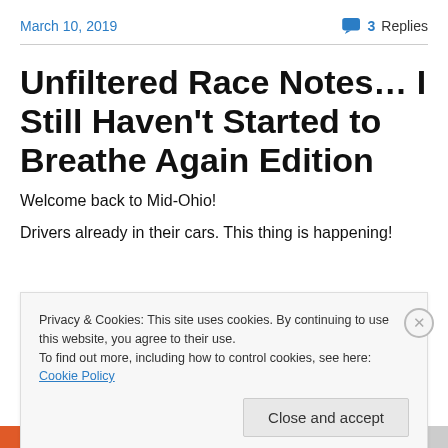March 10, 2019    3 Replies
Unfiltered Race Notes… I Still Haven't Started to Breathe Again Edition
Welcome back to Mid-Ohio!
Drivers already in their cars. This thing is happening!
Privacy & Cookies: This site uses cookies. By continuing to use this website, you agree to their use.
To find out more, including how to control cookies, see here: Cookie Policy